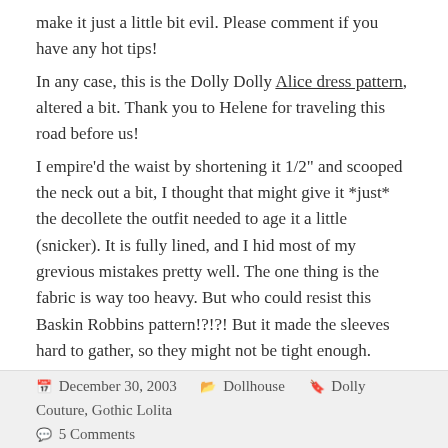make it just a little bit evil. Please comment if you have any hot tips! In any case, this is the Dolly Dolly Alice dress pattern, altered a bit. Thank you to Helene for traveling this road before us! I empire'd the waist by shortening it 1/2" and scooped the neck out a bit, I thought that might give it *just* the decollete the outfit needed to age it a little (snicker). It is fully lined, and I hid most of my grevious mistakes pretty well. The one thing is the fabric is way too heavy. But who could resist this Baskin Robbins pattern!?!?! But it made the sleeves hard to gather, so they might not be tight enough. The bonnet I got from an old victorian dolly pattern and enlarged it.
December 30, 2003  Dollhouse  Dolly Couture, Gothic Lolita  5 Comments